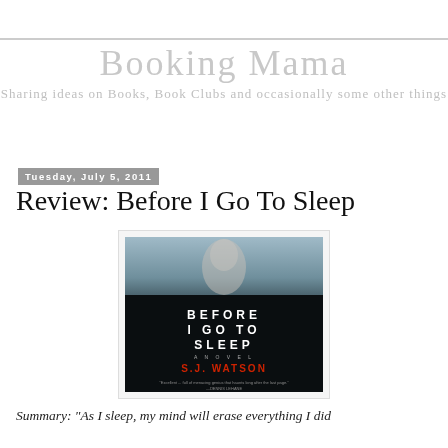Booking Mama — Sharing ideas on Books, Book Clubs and occasionally some other things
Tuesday, July 5, 2011
Review: Before I Go To Sleep
[Figure (illustration): Book cover of 'Before I Go To Sleep' by S.J. Watson — dark atmospheric cover showing a figure seen through glass, with bold white title text and orange author name on black background]
Summary: "As I sleep, my mind will erase everything I did today.